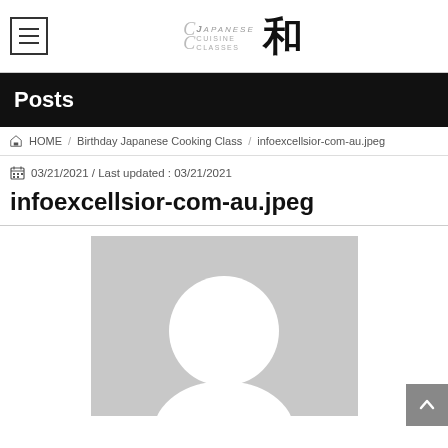Japanese Cuisine Classes 和
Posts
HOME / Birthday Japanese Cooking Class / infoexcellsior-com-au.jpeg
03/21/2021 / Last updated : 03/21/2021
infoexcellsior-com-au.jpeg
[Figure (photo): Gray placeholder image with a white circle/avatar shape centered in the lower half, typical of a default user profile image placeholder.]